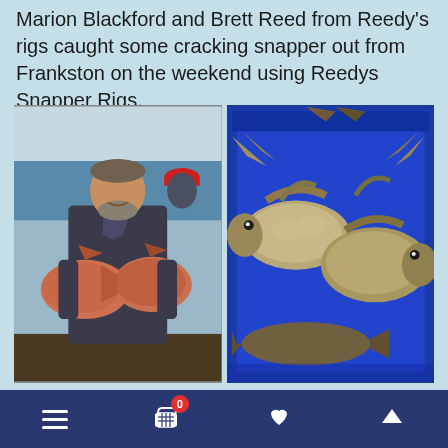Marion Blackford and Brett Reed from Reedy's rigs caught some cracking snapper out from Frankston on the weekend using Reedys Snapper Rigs.
[Figure (photo): Man on a boat holding two large red snapper fish, with another person wearing a red cap visible in the background. Ocean visible behind them.]
[Figure (photo): Multiple fish (snapper and flathead) laid out in a blue cooler/esky, photographed from above.]
Navigation bar with hamburger menu, shopping cart with badge 0, heart/wishlist icon, and up arrow icon